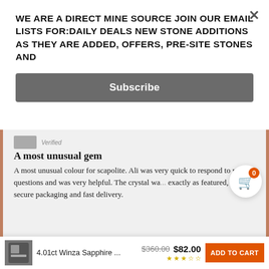WE ARE A DIRECT MINE SOURCE JOIN OUR EMAIL LISTS FOR:DAILY DEALS NEW STONE ADDITIONS AS THEY ARE ADDED, OFFERS, PRE-SITE STONES AND
Subscribe
A most unusual gem
A most unusual colour for scapolite. Ali was very quick to respond to my questions and was very helpful. The crystal wa... exactly as featured, with secure packaging and fast delivery.
08/12/2022 about 29.22ct
Exceptionally Rare Peach Pink Scapolite Crystal, Tanzania, Untreated Unheated, Facerable Grade,
4.01ct Winza Sapphire ... $360.00 $82.00 ADD TO CART